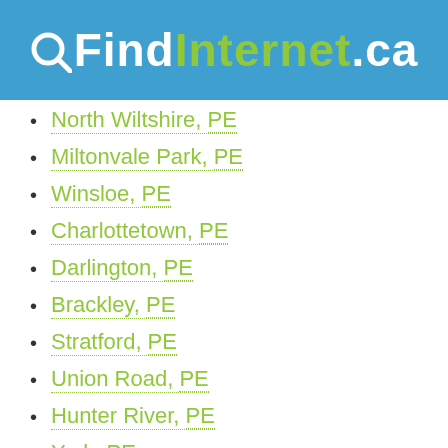QFindInternet.ca
North Wiltshire, PE
Miltonvale Park, PE
Winsloe, PE
Charlottetown, PE
Darlington, PE
Brackley, PE
Stratford, PE
Union Road, PE
Hunter River, PE
York, PE
Crapaud, PE
Victoria, PE
Alexandra, PE
Hazelbrook, PE